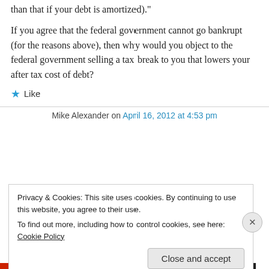than that if your debt is amortized)."
If you agree that the federal government cannot go bankrupt (for the reasons above), then why would you object to the federal government selling a tax break to you that lowers your after tax cost of debt?
★ Like
Mike Alexander on April 16, 2012 at 4:53 pm
Privacy & Cookies: This site uses cookies. By continuing to use this website, you agree to their use.
To find out more, including how to control cookies, see here: Cookie Policy